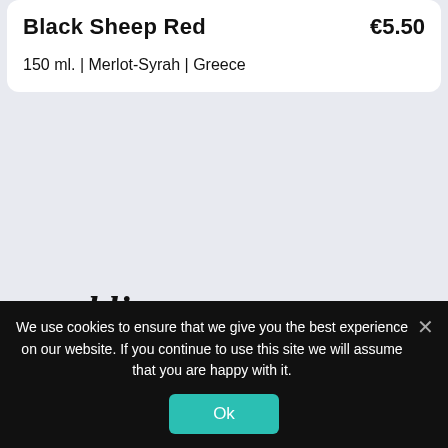Black Sheep Red   €5.50
150 ml. | Merlot-Syrah | Greece
sparkling
We use cookies to ensure that we give you the best experience on our website. If you continue to use this site we will assume that you are happy with it.